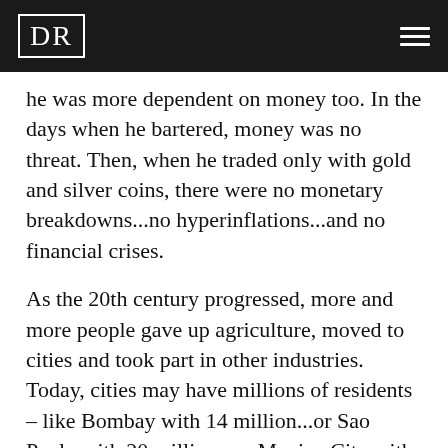DR
he was more dependent on money too. In the days when he bartered, money was no threat. Then, when he traded only with gold and silver coins, there were no monetary breakdowns...no hyperinflations...and no financial crises.
As the 20th century progressed, more and more people gave up agriculture, moved to cities and took part in other industries. Today, cities may have millions of residents – like Bombay with 14 million...or Sao Paulo with 20 million...or Mexico City with even more. All of these people are dependent on vast, stretched lines of communication and commerce.
Even the farmers themselves are now dependent on